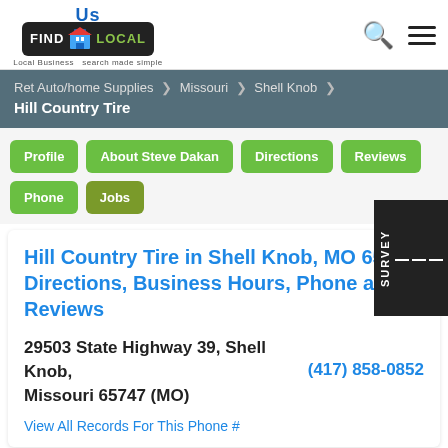[Figure (logo): FindUsLocal logo with 'Us' in blue above a black banner reading FIND LOCAL with a building icon, tagline 'Local Business search made simple']
Ret Auto/home Supplies > Missouri > Shell Knob > Hill Country Tire
Profile
About Steve Dakan
Directions
Reviews
Phone
Jobs
Hill Country Tire in Shell Knob, MO 65747 Directions, Business Hours, Phone and Reviews
29503 State Highway 39, Shell Knob, Missouri 65747 (MO)   (417) 858-0852
View All Records For This Phone #